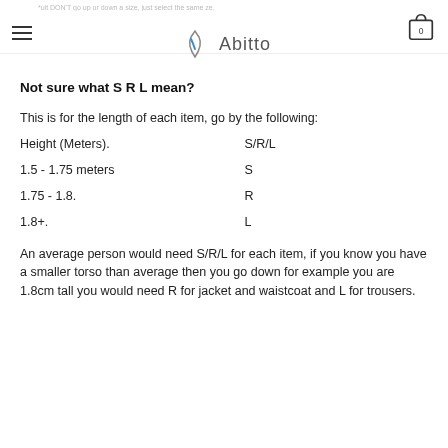Abitto — hamburger menu, cart icon with 0
Not sure what S R L mean?
This is for the length of each item, go by the following:
| Height (Meters). | S/R/L |
| --- | --- |
| 1.5 - 1.75 meters | S |
| 1.75 - 1.8. | R |
| 1.8+. | L |
An average person would need S/R/L for each item, if you know you have a smaller torso than average then you go down for example you are 1.8cm tall you would need R for jacket and waistcoat and L for trousers.